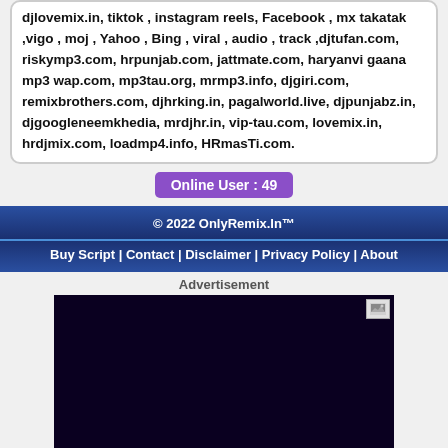djlovemix.in, tiktok , instagram reels, Facebook , mx takatak ,vigo , moj , Yahoo , Bing , viral , audio , track ,djtufan.com, riskymp3.com, hrpunjab.com, jattmate.com, haryanvi gaana mp3 wap.com, mp3tau.org, mrmp3.info, djgiri.com, remixbrothers.com, djhrking.in, pagalworld.live, djpunjabz.in, djgoogleneemkhedia, mrdjhr.in, vip-tau.com, lovemix.in, hrdjmix.com, loadmp4.info, HRmasTi.com.
Online User : 49
© 2022 OnlyRemix.In™
Buy Script | Contact | Disclaimer | Privacy Policy | About
Advertisement
[Figure (other): Dark advertisement banner with a small icon in the top right corner]